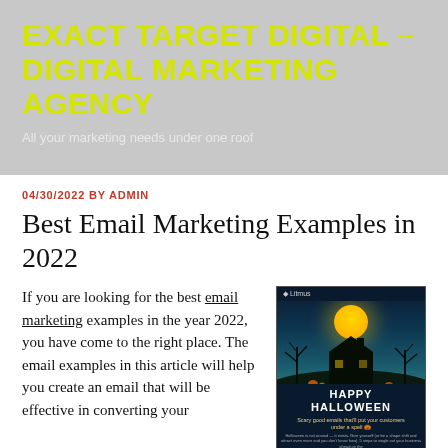EXACT TARGET DIGITAL – DIGITAL MARKETING AGENCY
All your marketing needs under one roof
04/30/2022 BY ADMIN
Best Email Marketing Examples in 2022
If you are looking for the best email marketing examples in the year 2022, you have come to the right place. The email examples in this article will help you create an email that will be effective in converting your
[Figure (screenshot): Screenshot of a Halloween-themed email marketing example showing a haunted house with a full moon, 'Happy Halloween' title text, and body copy about creating scary-good emails to put customers under a spell.]